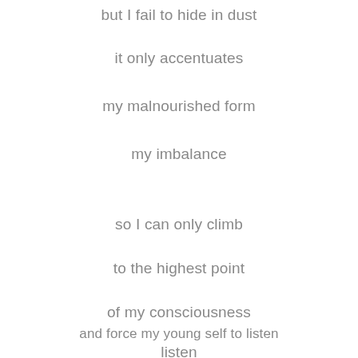but I fail to hide in dust
it only accentuates
my malnourished form
my imbalance
so I can only climb
to the highest point
of my consciousness
and force my young self to listen
listen